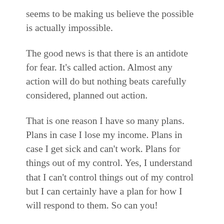seems to be making us believe the possible is actually impossible.
The good news is that there is an antidote for fear. It's called action. Almost any action will do but nothing beats carefully considered, planned out action.
That is one reason I have so many plans. Plans in case I lose my income. Plans in case I get sick and can't work. Plans for things out of my control. Yes, I understand that I can't control things out of my control but I can certainly have a plan for how I will respond to them. So can you!
I have plans so when fear attempts to overtake me I don't have to think...I just have to take whatever actions my plan says to take. That fake sensation of